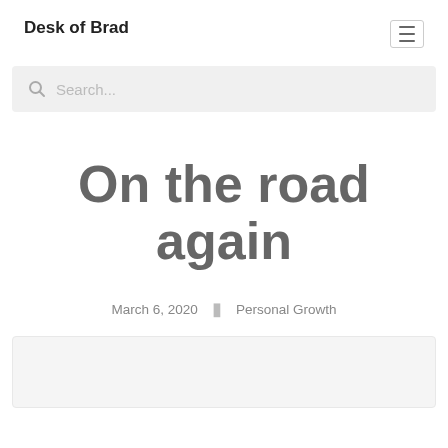Desk of Brad
[Figure (other): Hamburger menu icon with three horizontal lines inside a bordered box]
[Figure (other): Search bar with magnifying glass icon and placeholder text 'Search...']
On the road again
March 6, 2020 | Personal Growth
[Figure (photo): Partial image/photo at the bottom of the page, light gray background visible]